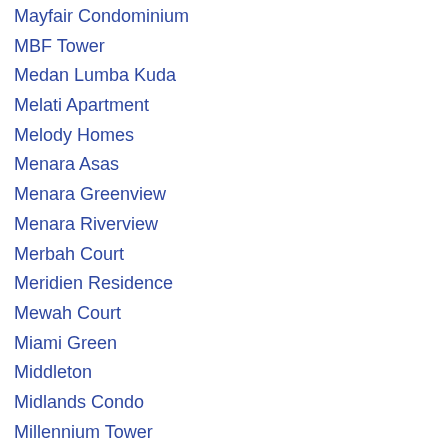Mayfair Condominium
MBF Tower
Medan Lumba Kuda
Melati Apartment
Melody Homes
Menara Asas
Menara Greenview
Menara Riverview
Merbah Court
Meridien Residence
Mewah Court
Miami Green
Middleton
Midlands Condo
Millennium Tower
Mira Residence
Mont Residence
Moulmein Rise